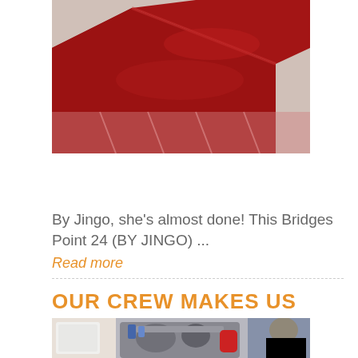[Figure (photo): Close-up photo of a dark red/maroon boat hull covered partially with plastic wrap/sheeting in a boatyard setting]
By Jingo, she's almost done! This Bridges Point 24 (BY JINGO) ...
Read more
OUR CREW MAKES US GREAT
[Figure (photo): Photo of a person working on machinery/engine in what appears to be a boat workshop]